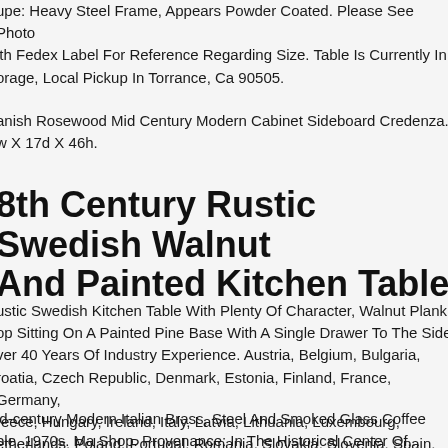upe: Heavy Steel Frame, Appears Powder Coated. Please See Photo With Fedex Label For Reference Regarding Size. Table Is Currently In Storage, Local Pickup In Torrance, Ca 90505.
anish Rosewood Mid Century Modern Cabinet Sideboard Credenza. w X 17d X 46h.
8th Century Rustic Swedish Walnut And Painted Kitchen Table
ustic Swedish Kitchen Table With Plenty Of Character, Walnut Plank op Sitting On A Painted Pine Base With A Single Drawer To The Side. ver 40 Years Of Industry Experience. Austria, Belgium, Bulgaria, roatia, Czech Republic, Denmark, Estonia, Finland, France, Germany, reece, Hungary, Ireland, Italy, Latvia, Lithuania, Luxembourg, etherlands, Poland, Portugal, Romania, Slovakia, Slovenia, Spain, weden.
id-century Modern Italian Brass, Steel And Smoked Glass Coffee ble. 1970s. Ma Shop. Provenance: In The Historical Center Of...